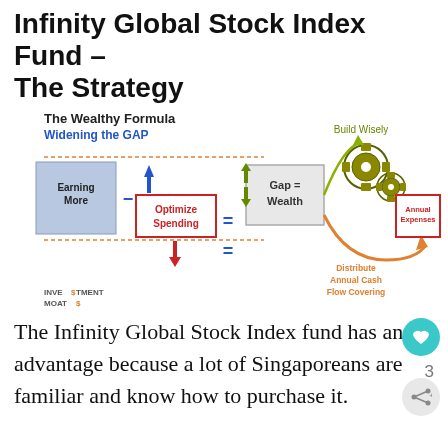Infinity Global Stock Index Fund – The Strategy
[Figure (infographic): The Wealthy Formula infographic showing 'Widening the GAP'. Contains: 'Earning More' blue box minus 'Optimize Spending' red box equals 'Gap = Wealth' gray box. Gears icon labeled 'Build Wisely' at top right. Orange arrow pointing to 'Annual Expenses' red box labeled 'Distribute Annual Cash Flow Covering'. Investment Moats logo at bottom left.]
The Infinity Global Stock Index fund has an advantage because a lot of Singaporeans are familiar and know how to purchase it.